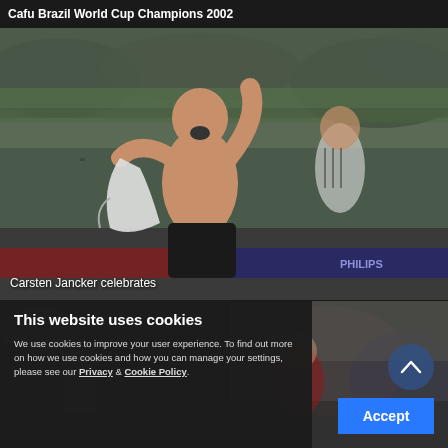Cafu Brazil World Cup Champions 2002
[Figure (photo): Carsten Jancker celebrating shirtless on soccer field, holding white jersey, crowd in background]
Carsten Jancker celebrates
[Figure (photo): Bottom left sports photo, partially obscured by cookie overlay]
[Figure (photo): Bottom right sports photo, partially visible]
This website uses cookies
We use cookies to improve your user experience. To find out more on how we use cookies and how you can manage your settings, please see our Privacy & Cookie Policy.